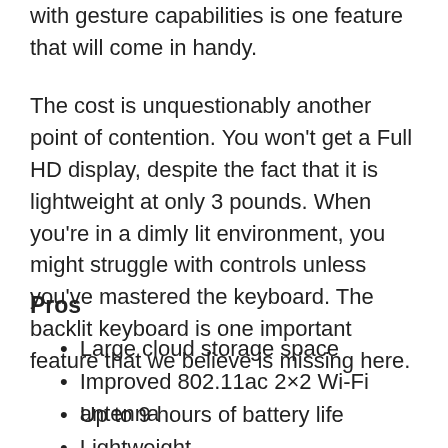with gesture capabilities is one feature that will come in handy.
The cost is unquestionably another point of contention. You won’t get a Full HD display, despite the fact that it is lightweight at only 3 pounds. When you’re in a dimly lit environment, you might struggle with controls unless you’ve mastered the keyboard. The backlit keyboard is one important feature that we believe is missing here.
Pros
Large cloud storage space
Improved 802.11ac 2×2 Wi-Fi antenna
Up to 9 hours of battery life
Lightweight